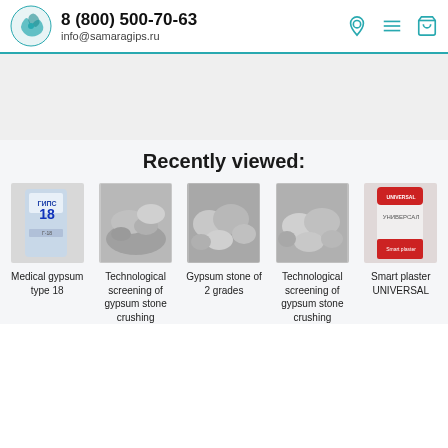8 (800) 500-70-63 info@samaragips.ru
Recently viewed:
[Figure (photo): Product image: Medical gypsum type 18 bag (white/blue bag)]
Medical gypsum type 18
[Figure (photo): Product image: Technological screening of gypsum stone crushing (powder)]
Technological screening of gypsum stone crushing
[Figure (photo): Product image: Gypsum stone of 2 grades (rocks)]
Gypsum stone of 2 grades
[Figure (photo): Product image: Technological screening of gypsum stone crushing (rocks)]
Technological screening of gypsum stone crushing
[Figure (photo): Product image: Smart plaster UNIVERSAL bag]
Smart plaster UNIVERSAL